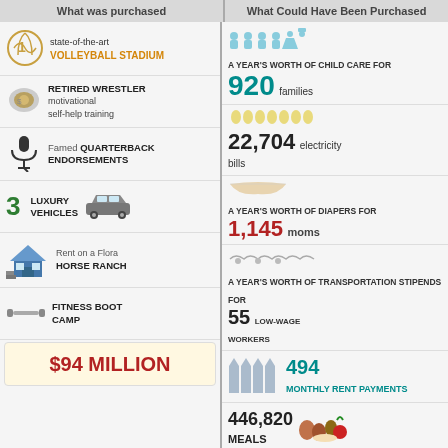What was purchased
What Could Have Been Purchased
1 state-of-the-art VOLLEYBALL STADIUM
A YEAR'S WORTH of CHILD CARE for 920 families
RETIRED WRESTLER motivational self-help training
22,704 electricity bills
Famed QUARTERBACK ENDORSEMENTS
A YEAR'S WORTH of DIAPERS for 1,145 moms
3 LUXURY VEHICLES
A YEAR'S WORTH of TRANSPORTATION STIPENDS for 55 LOW-WAGE WORKERS
Rent on a Flora HORSE RANCH
494 MONTHLY RENT PAYMENTS
FITNESS BOOT CAMP
446,820 MEALS
$94 MILLION
CASH ASSISTANCE to 438,224 families